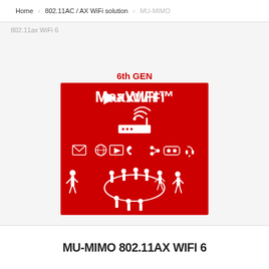Home  802.11AC / AX WiFi solution  MU-MIMO
802.11ax WiFi 6
[Figure (illustration): 6th GEN MaxWiFi product illustration on red background showing a router with WiFi signal, various service icons (email, globe, video, phone, share, VR, headset), and silhouettes of people around a conference table representing MU-MIMO multi-user connectivity]
MU-MIMO 802.11AX WIFI 6